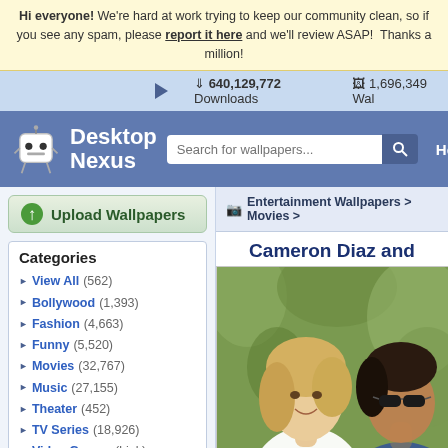Hi everyone! We're hard at work trying to keep our community clean, so if you see any spam, please report it here and we'll review ASAP! Thanks a million!
640,129,772 Downloads   1,696,349 Wal...
Desktop Nexus — Search for wallpapers... Home
Upload Wallpapers
Entertainment Wallpapers > Movies >
Categories
View All (562)
Bollywood (1,393)
Fashion (4,663)
Funny (5,520)
Movies (32,767)
Music (27,155)
Theater (452)
TV Series (18,926)
Video Games (Link)
Other (23,567)
Downloads: 640,129,772
Entertainment Walls: 83,864
All Wallpapers: 1,696,349
Tag Count: 9,948,936
Cameron Diaz and
[Figure (photo): Photo of Cameron Diaz and a man wearing sunglasses, outdoors with green foliage in the background]